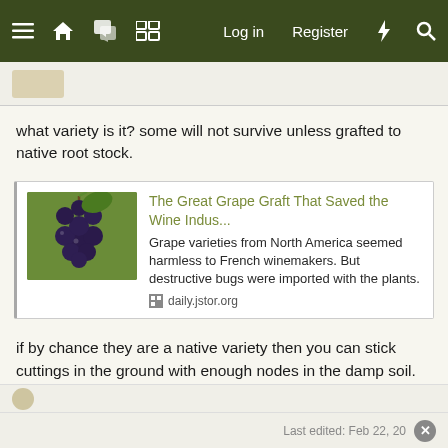≡  🏠  💬  🗞  Log in  Register  ⚡  🔍
what variety is it? some will not survive unless grafted to native root stock.
[Figure (screenshot): Link card preview for article 'The Great Grape Graft That Saved the Wine Indus...' from daily.jstor.org with grape image thumbnail. Description: Grape varieties from North America seemed harmless to French winemakers. But destructive bugs were imported with the plants.]
if by chance they are a native variety then you can stick cuttings in the ground with enough nodes in the damp soil. keep them covered if it is warm so that they won't dry out and some of them should root. located in a shady spot that gets indirect light until you see new buds come out then gradually move out into where they will get more light to adapt them.
Last edited: Feb 22, 20...